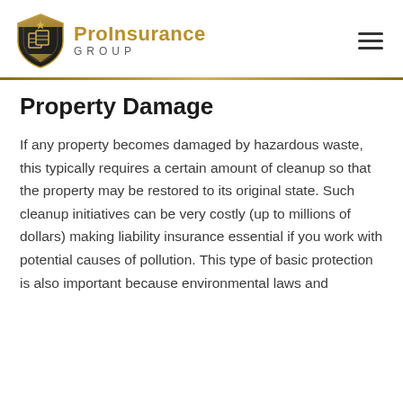ProInsurance GROUP
Property Damage
If any property becomes damaged by hazardous waste, this typically requires a certain amount of cleanup so that the property may be restored to its original state. Such cleanup initiatives can be very costly (up to millions of dollars) making liability insurance essential if you work with potential causes of pollution. This type of basic protection is also important because environmental laws and regulations. Pollution Prevention Act